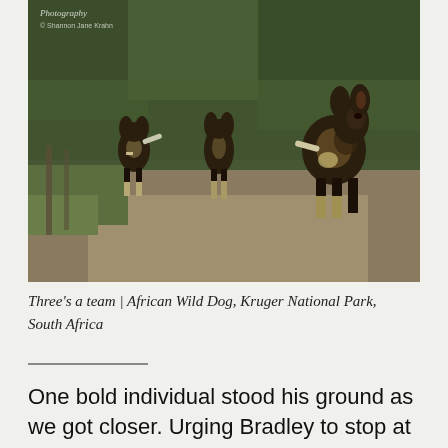[Figure (photo): Three African Wild Dogs standing on a dirt road with dense green bush and trees in the background. A watermark reading 'Photography' and '© Shannon Jane Krahn' is visible in the top-left corner of the image.]
Three's a team | African Wild Dog, Kruger National Park, South Africa
One bold individual stood his ground as we got closer. Urging Bradley to stop at a safe distance, I